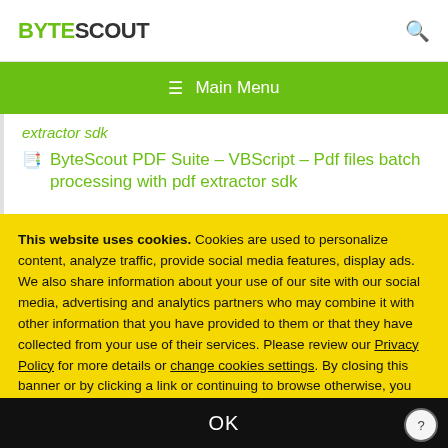BYTESCOUT [search icon]
☰  Main Menu
extractor sdk
ByteScout PDF Suite – VBScript – Pdf files batch processing with pdf extractor sdk
This website uses cookies. Cookies are used to personalize content, analyze traffic, provide social media features, display ads. We also share information about your use of our site with our social media, advertising and analytics partners who may combine it with other information that you have provided to them or that they have collected from your use of their services. Please review our Privacy Policy for more details or change cookies settings. By closing this banner or by clicking a link or continuing to browse otherwise, you consent to our cookies.
OK